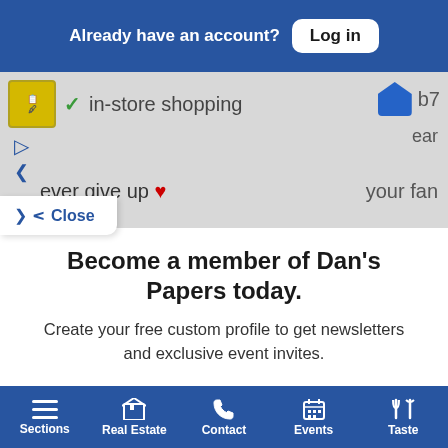Already have an account? Log in
[Figure (screenshot): Partial screenshot of a map/web interface showing in-store shopping label with checkmark, play icons, tagline 'never give up' with red heart emoji, and partial text 'your fan' on the right]
Close
Become a member of Dan's Papers today.
Create your free custom profile to get newsletters and exclusive event invites.
Free Newsletters 3
Dan's Daily
Dan's Hamptons Insider
Sections | Real Estate | Contact | Events | Taste